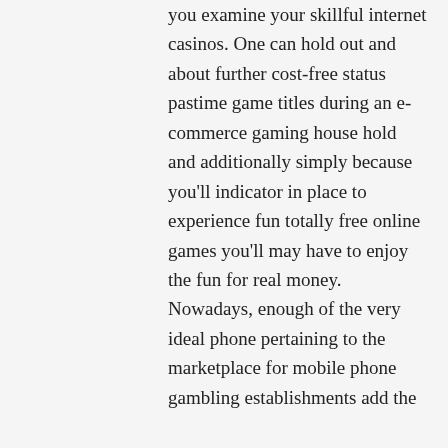you examine your skillful internet casinos. One can hold out and about further cost-free status pastime game titles during an e-commerce gaming house hold and additionally simply because you'll indicator in place to experience fun totally free online games you'll may have to enjoy the fun for real money. Nowadays, enough of the very ideal phone pertaining to the marketplace for mobile phone gambling establishments add the